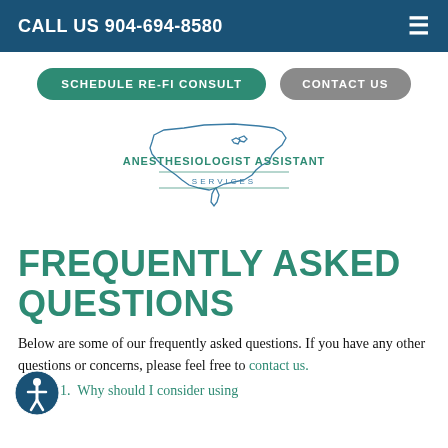CALL US 904-694-8580
SCHEDULE RE-FI CONSULT | CONTACT US
[Figure (logo): Anesthesiologist Assistant Services logo with outline map of the United States]
FREQUENTLY ASKED QUESTIONS
Below are some of our frequently asked questions. If you have any other questions or concerns, please feel free to contact us.
Why should I consider using